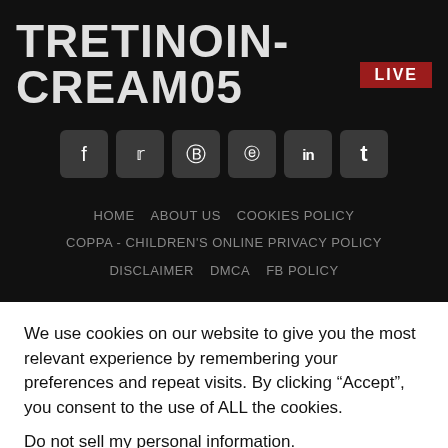TRETINOIN-CREAM05
[Figure (infographic): Red badge with text LIVE in white uppercase letters]
[Figure (infographic): Row of social media icon buttons: Facebook (f), Twitter (bird/t), Pinterest (p), Instagram (camera), LinkedIn (in), Tumblr (t)]
HOME   ABOUT US   COOKIES POLICY   COPPA - CHILDREN'S ONLINE PRIVACY POLICY   DISCLAIMER   DMCA   FB POLICY
We use cookies on our website to give you the most relevant experience by remembering your preferences and repeat visits. By clicking “Accept”, you consent to the use of ALL the cookies.
Do not sell my personal information.
Cookie Settings   Accept